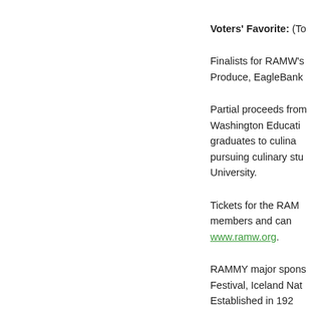Voters' Favorite: (To...
Finalists for RAMW's... Produce, EagleBank...
Partial proceeds from... Washington Education... graduates to culinary... pursuing culinary studies... University.
Tickets for the RAMM... members and can... www.ramw.org.
RAMMY major spons... Festival, Iceland Nat... Established in 192...